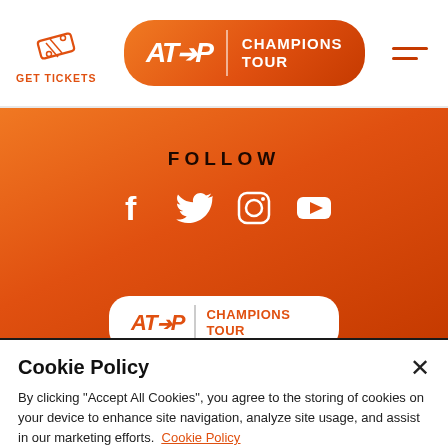[Figure (logo): Ticket icon with GET TICKETS label in orange]
[Figure (logo): ATP Champions Tour logo in orange rounded rectangle]
[Figure (logo): Hamburger menu icon with two orange lines]
FOLLOW
[Figure (infographic): Social media icons: Facebook, Twitter, Instagram, YouTube in white on orange background]
[Figure (logo): ATP Champions Tour logo on white background (partial, bottom of orange section)]
Cookie Policy
By clicking "Accept All Cookies", you agree to the storing of cookies on your device to enhance site navigation, analyze site usage, and assist in our marketing efforts.  Cookie Policy